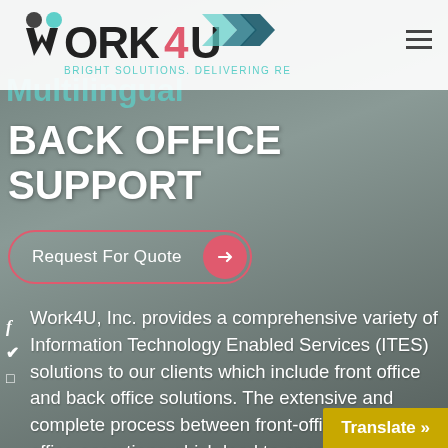[Figure (screenshot): Website screenshot showing Work4U Inc. webpage with logo, navigation hamburger menu, 'Multilingual Back Office Support' heading, Request For Quote button, social media icons, and descriptive body text about ITES solutions.]
Work4U — BRIGHT SOLUTIONS. DELIVERING RESULTS.
BACK OFFICE SUPPORT
Request For Quote →
Work4U, Inc. provides a comprehensive variety of Information Technology Enabled Services (ITES) solutions to our clients which include front office and back office solutions. The extensive and complete process between front-office and back- office operations which lead to operational efficiency helps the business achieve its goals and objectives. Our Information Technology Enabled Services (ITES) program is integrated to comprehensive software techn
Translate »